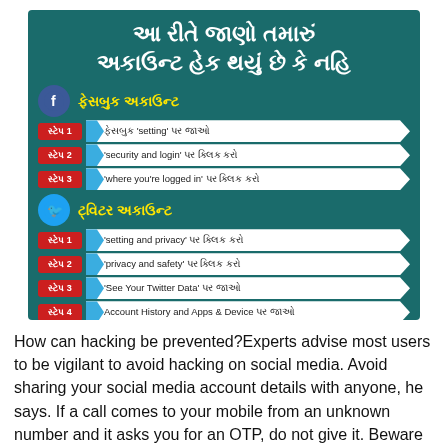[Figure (infographic): Gujarati-language infographic on teal background titled 'આ રીતે જાણો તમારું અકાઉન્ટ હેક થયું છે કે નહિ' (How to know if your account is hacked). Shows steps for Facebook account (3 steps) and Twitter account (4 steps) with red step badges and white arrow shapes.]
How can hacking be prevented?Experts advise most users to be vigilant to avoid hacking on social media. Avoid sharing your social media account details with anyone, he says. If a call comes to your mobile from an unknown number and it asks you for an OTP, do not give it. Beware of phishing links